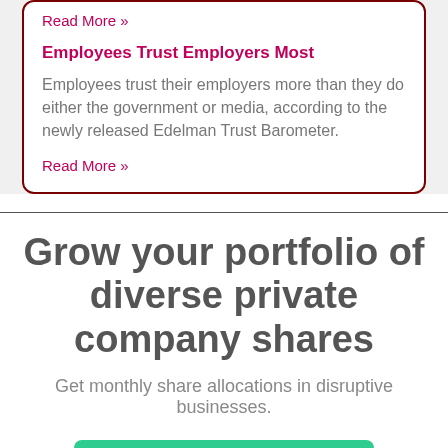Read More »
Employees Trust Employers Most
Employees trust their employers more than they do either the government or media, according to the newly released Edelman Trust Barometer.
Read More »
Grow your portfolio of diverse private company shares
Get monthly share allocations in disruptive businesses.
Learn more